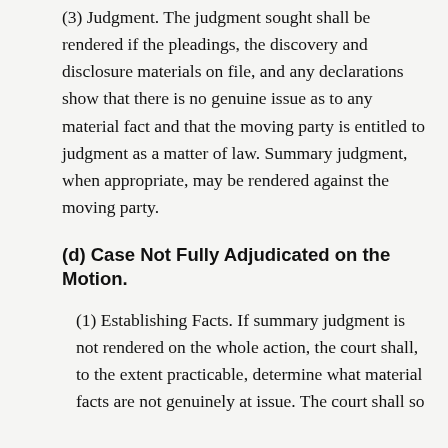(3) Judgment. The judgment sought shall be rendered if the pleadings, the discovery and disclosure materials on file, and any declarations show that there is no genuine issue as to any material fact and that the moving party is entitled to judgment as a matter of law. Summary judgment, when appropriate, may be rendered against the moving party.
(d) Case Not Fully Adjudicated on the Motion.
(1) Establishing Facts. If summary judgment is not rendered on the whole action, the court shall, to the extent practicable, determine what material facts are not genuinely at issue. The court shall so